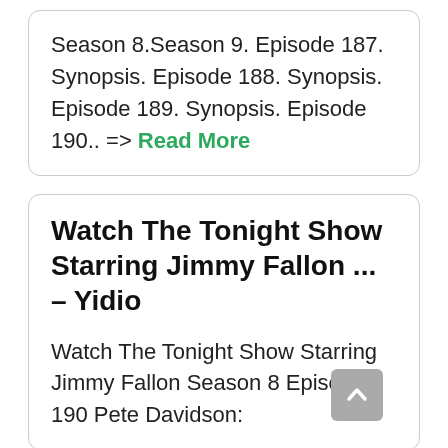Season 8.Season 9. Episode 187. Synopsis. Episode 188. Synopsis. Episode 189. Synopsis. Episode 190.. => Read More
Watch The Tonight Show Starring Jimmy Fallon ... – Yidio
Watch The Tonight Show Starring Jimmy Fallon Season 8 Episode 190 Pete Davidson: